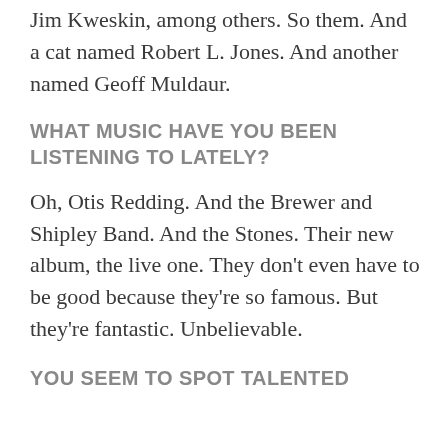Jim Kweskin, among others. So them. And a cat named Robert L. Jones. And another named Geoff Muldaur.
WHAT MUSIC HAVE YOU BEEN LISTENING TO LATELY?
Oh, Otis Redding. And the Brewer and Shipley Band. And the Stones. Their new album, the live one. They don’t even have to be good because they’re so famous. But they’re fantastic. Unbelievable.
YOU SEEM TO SPOT TALENTED